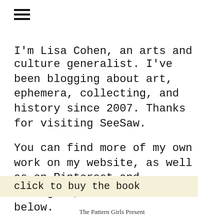[Figure (other): Hamburger menu icon (three horizontal lines)]
I'm Lisa Cohen, an arts and culture generalist. I've been blogging about art, ephemera, collecting, and history since 2007. Thanks for visiting SeeSaw.
You can find more of my own work on my website, as well as on Pinterest and Instagram, all linked below.
click to buy the book
The Pattern Girls Present